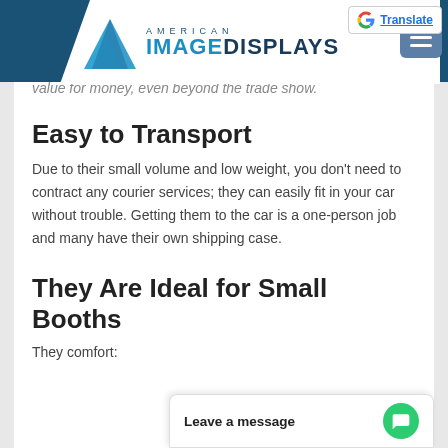American Image Displays
value for money, even beyond the trade show.
Easy to Transport
Due to their small volume and low weight, you don't need to contract any courier services; they can easily fit in your car without trouble. Getting them to the car is a one-person job and many have their own shipping case.
They Are Ideal for Small Booths
They comfort: